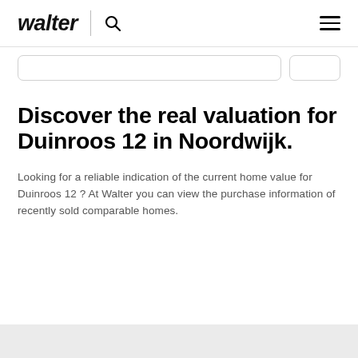walter
Discover the real valuation for Duinroos 12 in Noordwijk.
Looking for a reliable indication of the current home value for Duinroos 12 ? At Walter you can view the purchase information of recently sold comparable homes.